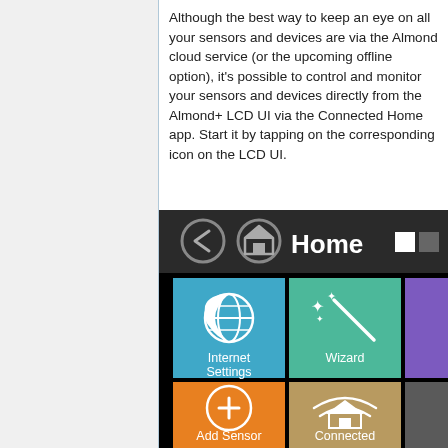Although the best way to keep an eye on all your sensors and devices are via the Almond cloud service (or the upcoming offline option), it's possible to control and monitor your sensors and devices directly from the Almond+ LCD UI via the Connected Home app. Start it by tapping on the corresponding icon on the LCD UI.
[Figure (screenshot): Almond+ LCD UI screenshot showing the Home screen with navigation icons (back arrow, home icon), 'Home' title, page indicators, and a tile grid with Internet Settings (blue), Wizard (green/teal), Add Sensor (orange), and Connected (tan/gold) app tiles.]